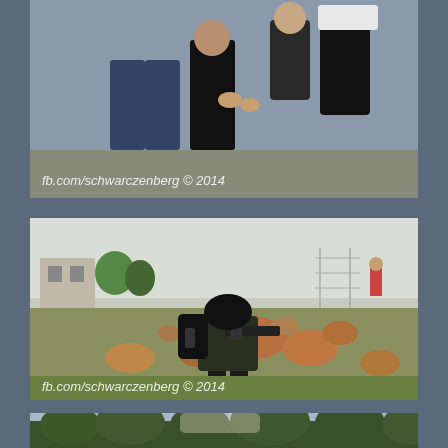[Figure (photo): Top photo (partially visible, cropped at top): people on a road, some wearing dark clothing and a white head covering. Watermark text reads 'fb.com/schwarczenberg © 2014'.]
[Figure (photo): Middle photo: a soldier in black combat gear and helmet, carrying a rifle/weapon and backpack, kneeling or walking through a rocky, rubble-strewn grassy area. Buildings and a fence visible in the background. A person visible in the far background. Watermark text reads 'fb.com/schwarczenberg © 2014'.]
[Figure (photo): Bottom photo (partially visible, cropped at bottom): trees/forest scene, appears to show vegetation and possibly a conflict/protest scene.]